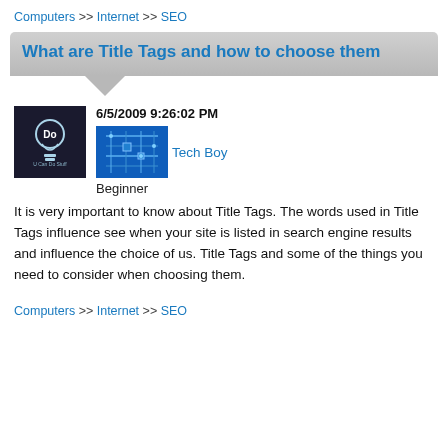Computers >> Internet >> SEO
What are Title Tags and how to choose them
6/5/2009 9:26:02 PM
Tech Boy
Beginner
It is very important to know about Title Tags. The words used in Title Tags influence see when your site is listed in search engine results and influence the choice of us. Title Tags and some of the things you need to consider when choosing them.
Computers >> Internet >> SEO